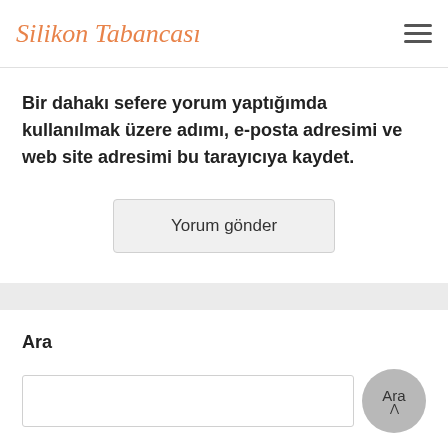Silikon Tabancası
Bir dahaki sefere yorum yaptığımda kullanılmak üzere adımı, e-posta adresimi ve web site adresimi bu tarayıcıya kaydet.
Yorum gönder
Ara
Ara